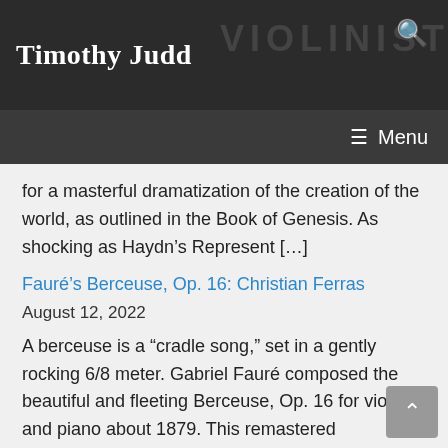Timothy Judd VIOLINIST
for a masterful dramatization of the creation of the world, as outlined in the Book of Genesis. As shocking as Haydn’s Represent [...]
Fauré’s Berceuse, Op. 16: Christian Ferras
August 12, 2022
A berceuse is a “cradle song,” set in a gently rocking 6/8 meter. Gabriel Fauré composed the beautiful and fleeting Berceuse, Op. 16 for violin and piano about 1879. This remastered performance by the French violinist Christian Ferras and pianist Ernest Lush was released in